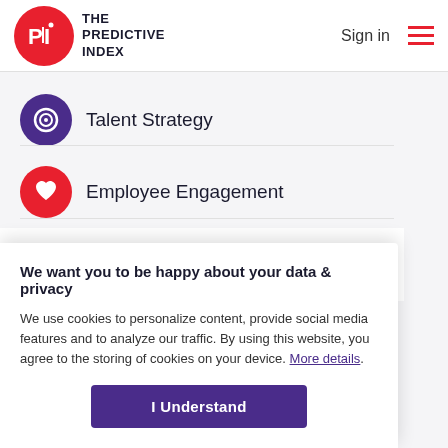THE PREDICTIVE INDEX | Sign in
Talent Strategy
Employee Engagement
SCIENCE
People data to power your strategy
We want you to be happy about your data & privacy
We use cookies to personalize content, provide social media features and to analyze our traffic. By using this website, you agree to the storing of cookies on your device. More details.
I Understand